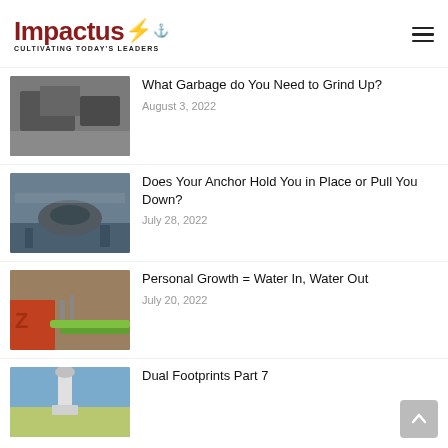Impactus — Cultivating Today's Leaders
[Figure (photo): Thumbnail image of metallic/garbage objects for article about garbage]
What Garbage do You Need to Grind Up?
August 3, 2022
[Figure (photo): Thumbnail image of a submarine/naval vessel at dock for article about anchor]
Does Your Anchor Hold You in Place or Pull You Down?
July 28, 2022
[Figure (photo): Thumbnail image of a fire truck with hoses for article about personal growth]
Personal Growth = Water In, Water Out
July 20, 2022
[Figure (photo): Thumbnail image of a lighthouse for article about dual footprints]
Dual Footprints Part 7